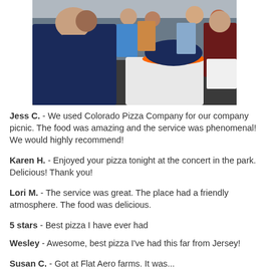[Figure (photo): Outdoor crowd scene photographed from behind, people standing on a dark pavement area, one person wearing a navy blue t-shirt in foreground, another wearing a navy cap with orange brim]
Jess C. - We used Colorado Pizza Company for our company picnic. The food was amazing and the service was phenomenal! We would highly recommend!
Karen H. - Enjoyed your pizza tonight at the concert in the park. Delicious! Thank you!
Lori M. - The service was great. The place had a friendly atmosphere. The food was delicious.
5 stars - Best pizza I have ever had
Wesley - Awesome, best pizza I've had this far from Jersey!
Susan C. - Got at Flat Aero farms. It was...